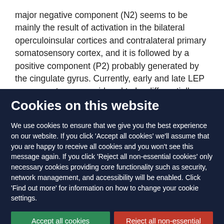major negative component (N2) seems to be mainly the result of activation in the bilateral operculoinsular cortices and contralateral primary somatosensory cortex, and it is followed by a positive component (P2) probably generated by the cingulate gyrus. Currently, early and late LEP components are considered to be differentially sensitive to the subjective salibility of pain sensation, the late N2-P2 complex tends...
Cookies on this website
We use cookies to ensure that we give you the best experience on our website. If you click 'Accept all cookies' we'll assume that you are happy to receive all cookies and you won't see this message again. If you click 'Reject all non-essential cookies' only necessary cookies providing core functionality such as security, network management, and accessibility will be enabled. Click 'Find out more' for information on how to change your cookie settings.